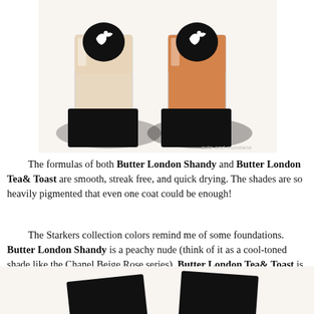[Figure (photo): Two Butter London nail polish bottles side by side. The left bottle contains a pale nude/beige polish (Shandy) and the right contains a warm tan/peachy-orange polish (Tea & Toast). Both have black caps with a white bird silhouette logo. Their black rectangular bases are visible in front. A watermark reading 'cute and mundane' appears in the lower right of the image.]
The formulas of both Butter London Shandy and Butter London Tea& Toast are smooth, streak free, and quick drying. The shades are so heavily pigmented that even one coat could be enough!
The Starkers collection colors remind me of some foundations. Butter London Shandy is a peachy nude (think of it as a cool-toned shade like the Chanel Beige Rose series). Butter London Tea& Toast is a warm tan color (like the Chanel Beige Ambré series).
[Figure (photo): Partial view of two black rectangular nail polish bottle bases at the bottom of the page, partially cropped.]